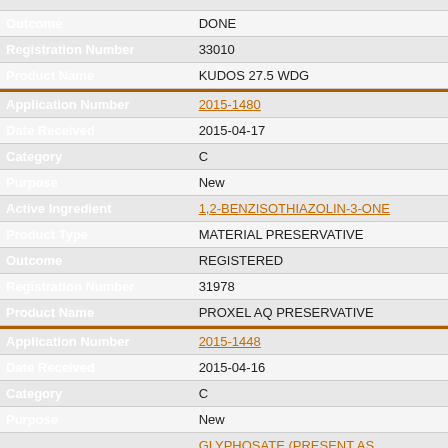| Field | Value |
| --- | --- |
| Outcome | DONE |
| Registration Number | 33010 |
| Product Name | KUDOS 27.5 WDG |
| — section divider — |  |
| Application Number | 2015-1480 |
| Date Received | 2015-04-17 |
| Category | C |
| Purpose | New |
| Active Ingredient | 1,2-BENZISOTHIAZOLIN-3-ONE |
| Product Type | MATERIAL PRESERVATIVE |
| Outcome | REGISTERED |
| Registration Number | 31978 |
| Product Name | PROXEL AQ PRESERVATIVE |
| — section divider — |  |
| Application Number | 2015-1448 |
| Date Received | 2015-04-16 |
| Category | C |
| Purpose | New |
| Active Ingredient | GLYPHOSATE (PRESENT AS ISOPROPYLAMMONIUM) |
| Product Type | HERBICIDE |
| Outcome | REGISTERED |
| Registration Number | 32041 |
| Product Name | REFILL FOR ROUNDUP READY-TO-USE TOUGH WEED KILLER WITH APPLICATOR |